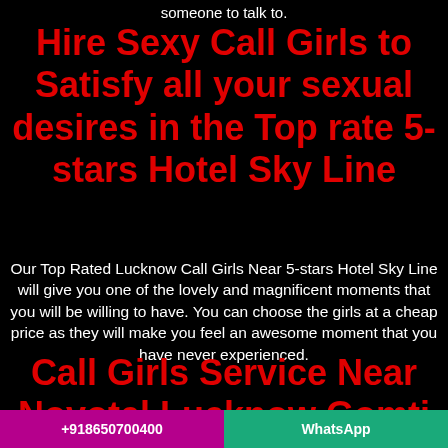someone to talk to.
Hire Sexy Call Girls to Satisfy all your sexual desires in the Top rate 5-stars Hotel Sky Line
Our Top Rated Lucknow Call Girls Near 5-stars Hotel Sky Line will give you one of the lovely and magnificent moments that you will be willing to have. You can choose the girls at a cheap price as they will make you feel an awesome moment that you have never experienced.
Call Girls Service Near Novotel Lucknow Gomti
+918650700400  WhatsApp